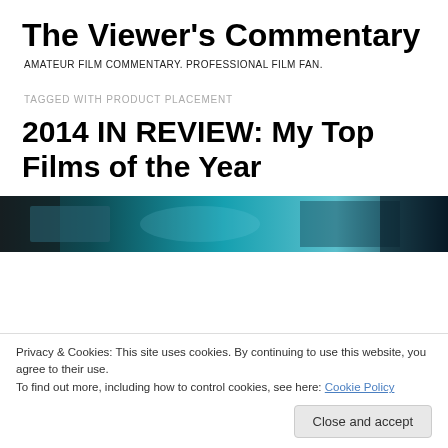The Viewer's Commentary
AMATEUR FILM COMMENTARY. PROFESSIONAL FILM FAN.
TAGGED WITH PRODUCT PLACEMENT
2014 IN REVIEW: My Top Films of the Year
[Figure (photo): A dark teal/blue-tinted film still showing blurred figures and interior scene]
Privacy & Cookies: This site uses cookies. By continuing to use this website, you agree to their use.
To find out more, including how to control cookies, see here: Cookie Policy
Close and accept